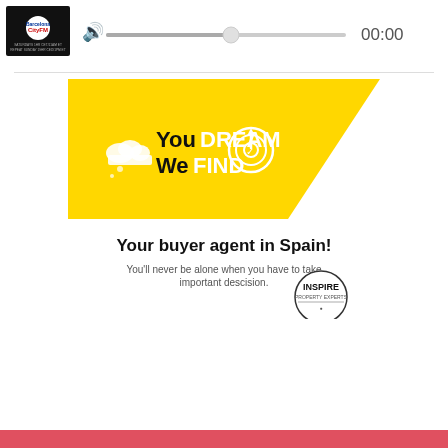[Figure (screenshot): Radio station audio player widget with Barcelona CityFM.com logo thumbnail, speaker icon, progress bar slider at ~52%, and time display showing 00:00]
[Figure (infographic): Inspire Property Experts advertisement. Yellow trapezoid shape at top with cloud icon, target/bullseye icon, bold text 'You DREAM We FIND' where DREAM and FIND are in yellow on dark background. White section below reads 'Your buyer agent in Spain!' and 'You'll never be alone when you have to take important descision.' Inspire Property Experts circular logo at bottom right.]
[Figure (infographic): Red/coral bar at bottom of page, partial view of another advertisement section]